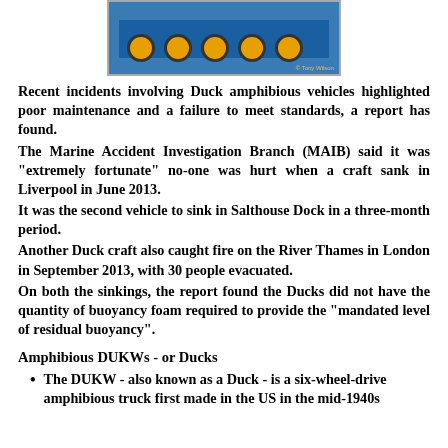[Figure (photo): Partial view of a blue Duck amphibious vehicle (DUKW) with yellow wheels, bottom portion visible. Photo credit: Tony Wilson.]
Recent incidents involving Duck amphibious vehicles highlighted poor maintenance and a failure to meet standards, a report has found.
The Marine Accident Investigation Branch (MAIB) said it was "extremely fortunate" no-one was hurt when a craft sank in Liverpool in June 2013.
It was the second vehicle to sink in Salthouse Dock in a three-month period.
Another Duck craft also caught fire on the River Thames in London in September 2013, with 30 people evacuated.
On both the sinkings, the report found the Ducks did not have the quantity of buoyancy foam required to provide the "mandated level of residual buoyancy".
Amphibious DUKWs - or Ducks
The DUKW - also known as a Duck - is a six-wheel-drive amphibious truck first made in the US in the mid-1940s